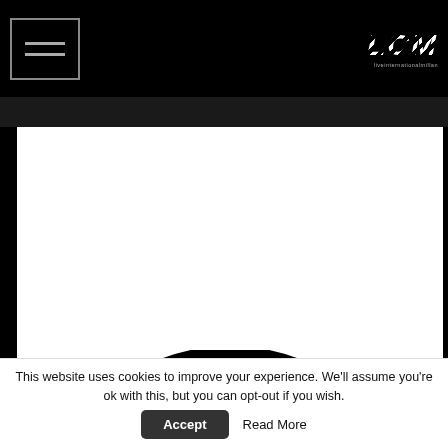[Figure (screenshot): Website header navigation bar with hamburger menu button on left and LCM logo (stylized slanted letters with striped effect) on right, on black background]
[Figure (logo): Black and white logo: large bold letter B inside a thick black circle, on white background]
This website uses cookies to improve your experience. We'll assume you're ok with this, but you can opt-out if you wish.
Accept
Read More